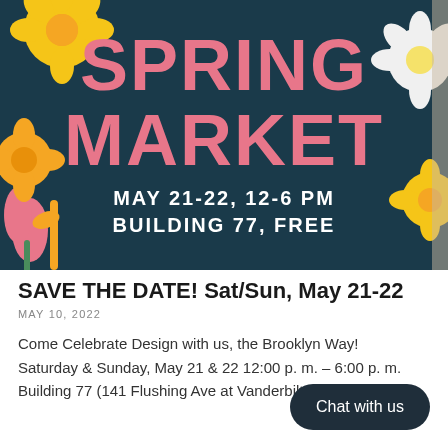[Figure (illustration): Spring Market event banner with teal/dark blue background, large salmon/coral text reading SPRING MARKET, white text MAY 21-22, 12-6 PM / BUILDING 77, FREE, decorated with colorful flower illustrations (yellow, orange, pink, white flowers)]
SAVE THE DATE! Sat/Sun, May 21-22
MAY 10, 2022
Come Celebrate Design with us, the Brooklyn Way! Saturday & Sunday, May 21 & 22 12:00 p. m. – 6:00 p. m. Building 77 (141 Flushing Ave at Vanderbilt Ave)...
Chat with us